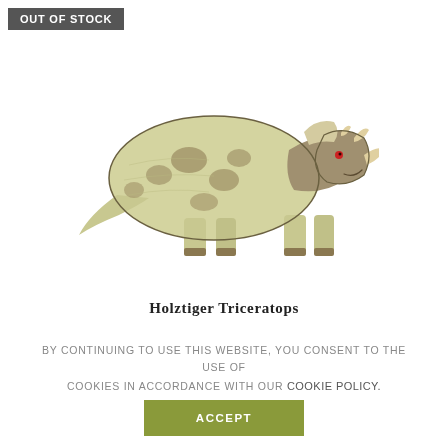OUT OF STOCK
[Figure (illustration): Wooden Holztiger Triceratops toy figure, hand-painted in cream/yellow with brown spots and a darker brown head with three horns and a red eye.]
Holztiger Triceratops
By continuing to use this website, you consent to the use of cookies in accordance with our Cookie Policy.
ACCEPT